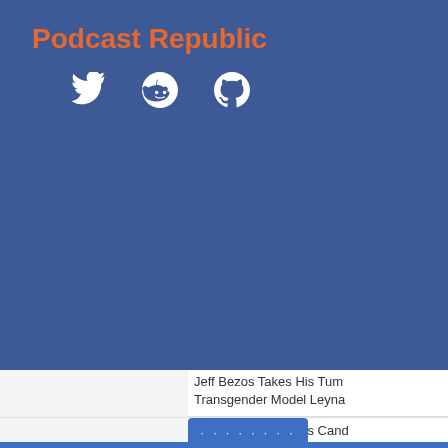Podcast Republic
[Figure (infographic): Social media icons: Twitter bird, Reddit alien, GitHub octocat — white icons on blue background]
Jeff Bezos Takes His Tum Transgender Model Leyna
Jen Psaki Advocates Cand